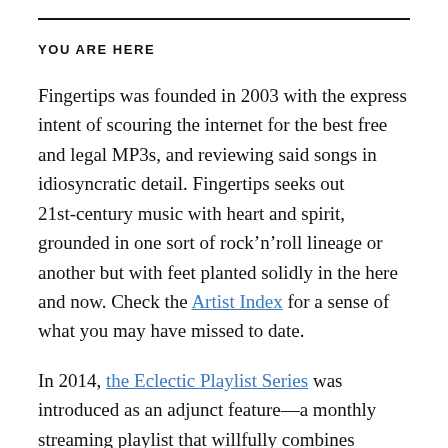YOU ARE HERE
Fingertips was founded in 2003 with the express intent of scouring the internet for the best free and legal MP3s, and reviewing said songs in idiosyncratic detail. Fingertips seeks out 21st-century music with heart and spirit, grounded in one sort of rock’n’roll lineage or another but with feet planted solidly in the here and now. Check the Artist Index for a sense of what you may have missed to date.
In 2014, the Eclectic Playlist Series was introduced as an adjunct feature—a monthly streaming playlist that willfully combines